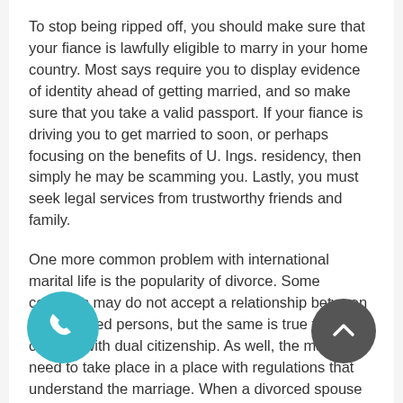To stop being ripped off, you should make sure that your fiance is lawfully eligible to marry in your home country. Most says require you to display evidence of identity ahead of getting married, and so make sure that you take a valid passport. If your fiance is driving you to get married to soon, or perhaps focusing on the benefits of U. Ings. residency, then simply he may be scamming you. Lastly, you must seek legal services from trustworthy friends and family.
One more common problem with international marital life is the popularity of divorce. Some countries may do not accept a relationship between two divorced persons, but the same is true to get couples with dual citizenship. As well, the marriage need to take place in a place with regulations that understand the marriage. When a divorced spouse wishes to get married overseas, they should have the divorce documents translated into the local vocabulary. The documents should also be verified. When a single partner is definitely involved, it might be hard meant for him to marry internationally, or the other hand.
You should also contact the A language like german missions